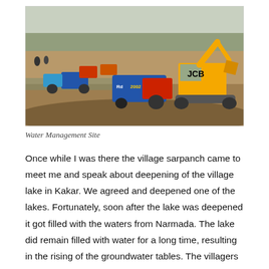[Figure (photo): Outdoor water management site showing a JCB excavator and several tractors with blue trailers working on a dry sandy area, with trees and people visible in the background.]
Water Management Site
Once while I was there the village sarpanch came to meet me and speak about deepening of the village lake in Kakar. We agreed and deepened one of the lakes. Fortunately, soon after the lake was deepened it got filled with the waters from Narmada. The lake did remain filled with water for a long time, resulting in the rising of the groundwater tables. The villagers could comprehend the benefit of this effort. Now they have come up with a request of